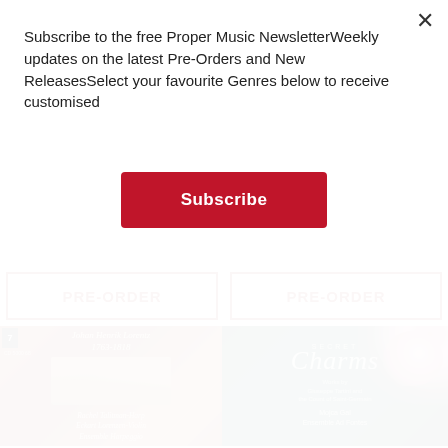Subscribe to the free Proper Music NewsletterWeekly updates on the latest Pre-Orders and New ReleasesSelect your favourite Genres below to receive customised
Subscribe
PRE-ORDER
PRE-ORDER
[Figure (photo): Album cover for Johan Henrik Lorentz 1763-1818, showing a Regency-era crowd scene painting on a terracotta/russet background. Credits: Rachel Talitman-Harp, Eckart Lorenzen-Violin, Ensemble Harpeggio]
[Figure (photo): Album cover for Secret Charms on teal/dark green background with floral roses design. Works by Giuseppe Tartini and the Count of Saint-Germain. Performers: Mojca Gal, Ensemble Ad Fontes. Cavalli Music label.]